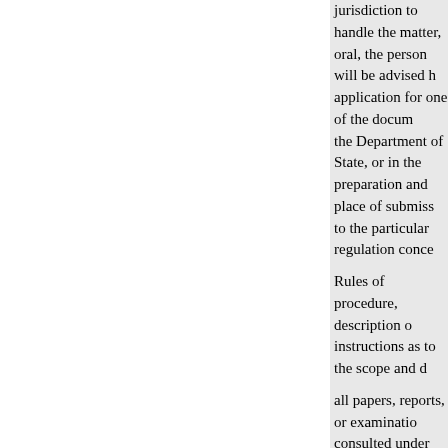jurisdiction to handle the matter, oral, the person will be advised h application for one of the docum the Department of State, or in the preparation and place of submiss to the particular regulation conce
Rules of procedure, description o instructions as to the scope and d
all papers, reports, or examinatio consulted under the correspondin offices listed below. Forms perta also be obtained at the offices in
Subject matter
Office
Address
Appointment of Foreign Service Officers.
Foreign Service.
NW., Washington, D.C. 20520
Department of State, Room 1237
NW., Washington, D.C. 2052